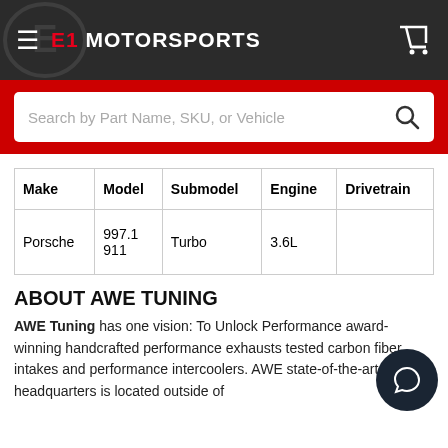≡ E1 MOTORSPORTS
[Figure (screenshot): Search bar with placeholder text 'Search by Part Name, SKU, or Vehicle' and a search icon, on a red background strip]
| Make | Model | Submodel | Engine | Drivetrain |
| --- | --- | --- | --- | --- |
| Porsche | 997.1
911 | Turbo | 3.6L |  |
ABOUT AWE TUNING
AWE Tuning has one vision: To Unlock Performance award-winning handcrafted performance exhausts tested carbon fiber intakes and performance intercoolers. AWE state-of-the-art headquarters is located outside of